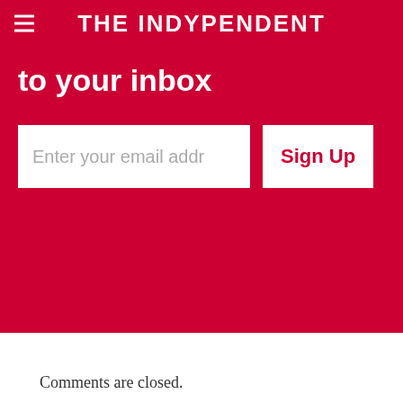THE INDYPENDENT
to your inbox
Enter your email addr
Sign Up
Comments are closed.